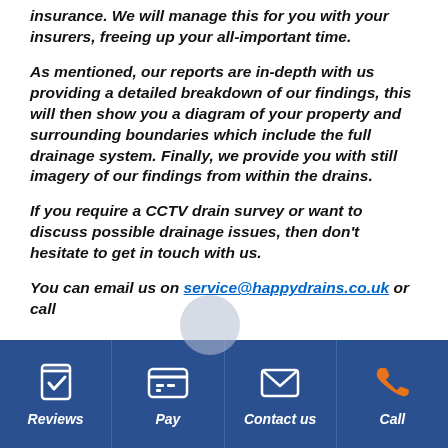insurance. We will manage this for you with your insurers, freeing up your all-important time.
As mentioned, our reports are in-depth with us providing a detailed breakdown of our findings, this will then show you a diagram of your property and surrounding boundaries which include the full drainage system. Finally, we provide you with still imagery of our findings from within the drains.
If you require a CCTV drain survey or want to discuss possible drainage issues, then don't hesitate to get in touch with us.
You can email us on service@happydrains.co.uk or call
Reviews | Pay | Contact us | Call